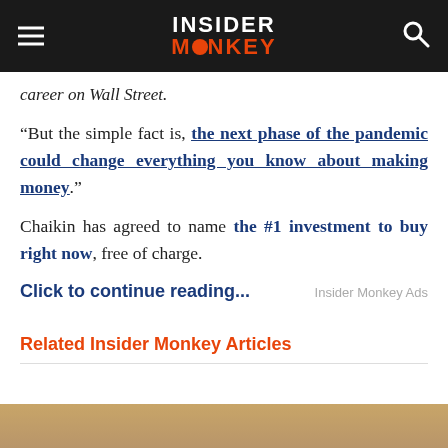INSIDER MONKEY
career on Wall Street.
“But the simple fact is, the next phase of the pandemic could change everything you know about making money.”
Chaikin has agreed to name the #1 investment to buy right now, free of charge.
Click to continue...
Insider Monkey Ads
Related Insider Monkey Articles
[Figure (photo): Bottom portion of a photo, partially visible at the bottom of the page]